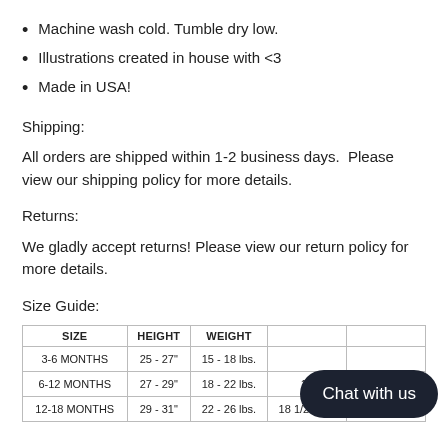Machine wash cold. Tumble dry low.
Illustrations created in house with <3
Made in USA!
Shipping:
All orders are shipped within 1-2 business days.  Please view our shipping policy for more details.
Returns:
We gladly accept returns! Please view our return policy for more details.
Size Guide:
| SIZE | HEIGHT | WEIGHT |  |  |
| --- | --- | --- | --- | --- |
| 3-6 MONTHS | 25 - 27" | 15 - 18 lbs. |  |  |
| 6-12 MONTHS | 27 - 29" | 18 - 22 lbs. | 18 |  |
| 12-18 MONTHS | 29 - 31" | 22 - 26 lbs. | 18 1/2 - 19" | 17 1/2 - 18" |